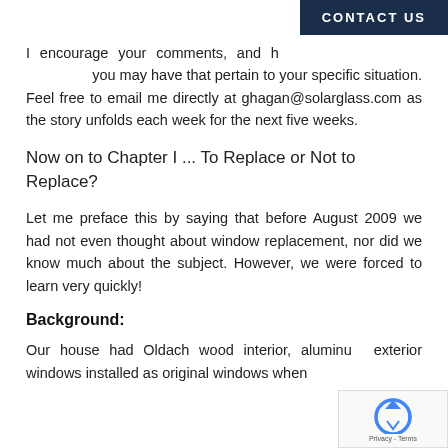CONTACT US
I encourage your comments, and happy to answer any questions you may have that pertain to your specific situation. Feel free to email me directly at ghagan@solarglass.com as the story unfolds each week for the next five weeks.
Now on to Chapter I ... To Replace or Not to Replace?
Let me preface this by saying that before August 2009 we had not even thought about window replacement, nor did we know much about the subject. However, we were forced to learn very quickly!
Background:
Our house had Oldach wood interior, aluminum exterior windows installed as original windows when